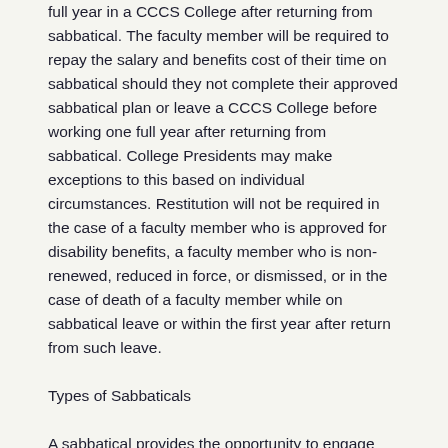full year in a CCCS College after returning from sabbatical. The faculty member will be required to repay the salary and benefits cost of their time on sabbatical should they not complete their approved sabbatical plan or leave a CCCS College before working one full year after returning from sabbatical. College Presidents may make exceptions to this based on individual circumstances. Restitution will not be required in the case of a faculty member who is approved for disability benefits, a faculty member who is non-renewed, reduced in force, or dismissed, or in the case of death of a faculty member while on sabbatical leave or within the first year after return from such leave.
Types of Sabbaticals
A sabbatical provides the opportunity to engage